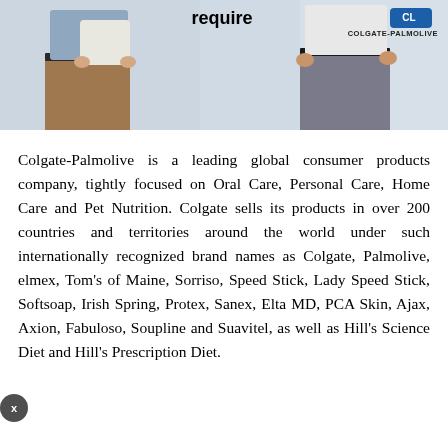[Figure (photo): Photo of two people standing, partial view showing torsos and hands, with 'require' text and Colgate-Palmolive logo overlaid at the top]
Colgate-Palmolive is a leading global consumer products company, tightly focused on Oral Care, Personal Care, Home Care and Pet Nutrition. Colgate sells its products in over 200 countries and territories around the world under such internationally recognized brand names as Colgate, Palmolive, elmex, Tom's of Maine, Sorriso, Speed Stick, Lady Speed Stick, Softsoap, Irish Spring, Protex, Sanex, Elta MD, PCA Skin, Ajax, Axion, Fabuloso, Soupline and Suavitel, as well as Hill's Science Diet and Hill's Prescription Diet.